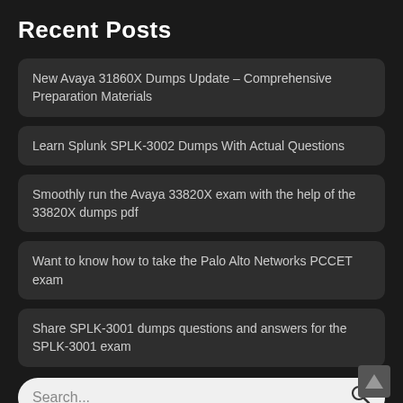Recent Posts
New Avaya 31860X Dumps Update – Comprehensive Preparation Materials
Learn Splunk SPLK-3002 Dumps With Actual Questions
Smoothly run the Avaya 33820X exam with the help of the 33820X dumps pdf
Want to know how to take the Palo Alto Networks PCCET exam
Share SPLK-3001 dumps questions and answers for the SPLK-3001 exam
Search...